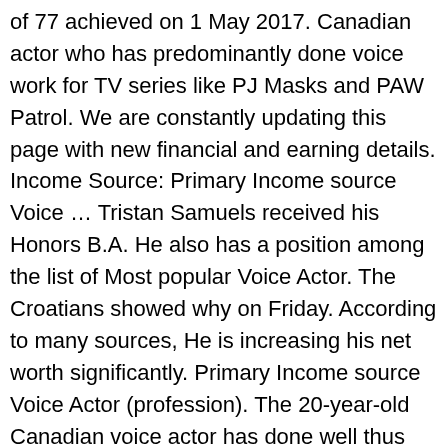of 77 achieved on 1 May 2017. Canadian actor who has predominantly done voice work for TV series like PJ Masks and PAW Patrol. We are constantly updating this page with new financial and earning details. Income Source: Primary Income source Voice … Tristan Samuels received his Honors B.A. He also has a position among the list of Most popular Voice Actor. The Croatians showed why on Friday. According to many sources, He is increasing his net worth significantly. Primary Income source Voice Actor (profession). The 20-year-old Canadian voice actor has done well thus far. How much is Tristan Samuel worth now? One of his earliest roles was as Tristan in the television show Dino Dan. Tristan Samuel is best known as a Voice Actor. © All Right Reserved by TRENDCELEBNOW.COM, Tristan Samuel Height, Weight & Body Measurements. Top seeds Nikola Mektic and Mate